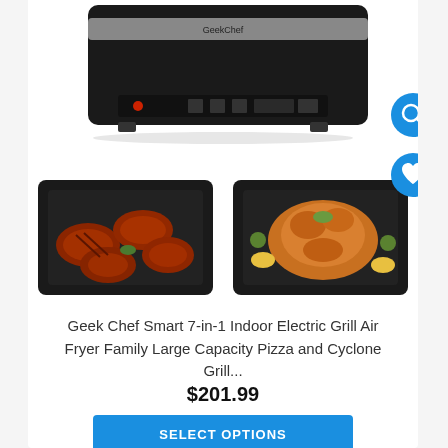[Figure (photo): Geek Chef indoor electric grill air fryer product photos: top shows the black appliance with silver handle and control panel; bottom shows two cooking trays — left with grilled meat steaks, right with a whole roasted chicken with vegetables.]
Geek Chef Smart 7-in-1 Indoor Electric Grill Air Fryer Family Large Capacity Pizza and Cyclone Grill...
$201.99
SELECT OPTIONS